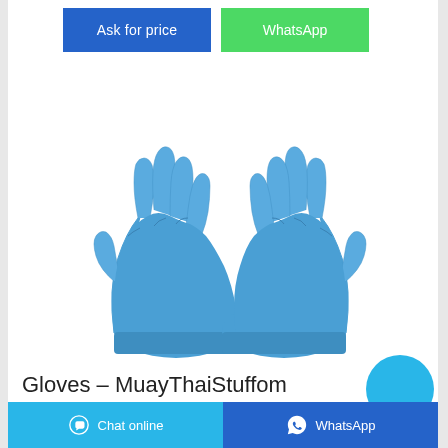[Figure (other): Two blue nitrile rubber gloves shown from the back/top view against a white background]
Gloves – MuayThaiStuffom
Founded in 2003, MuayThaiStuffom is the pioneer of MuayThai online store. All products are original and made in Thailand. We ship to Worldwide. Muay Thai Stuff is the authorized online seller of major MuayThai brands including TUFF , Top King , Kombat Gear , Hanumann , Fairtex , etc.
Chat online | WhatsApp